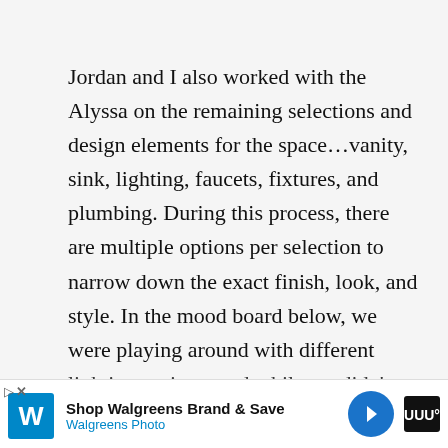Jordan and I also worked with the Alyssa on the remaining selections and design elements for the space…vanity, sink, lighting, faucets, fixtures, and plumbing. During this process, there are multiple options per selection to narrow down the exact finish, look, and style. In the mood board below, we were playing around with different lighting options, and while we didn't go with the one shown, it helped show the overall feel for the direction we were heading.
And before any full decision was made, all samples w...
[Figure (other): Walgreens advertisement banner at the bottom of the page: 'Shop Walgreens Brand & Save' with Walgreens Photo logo]